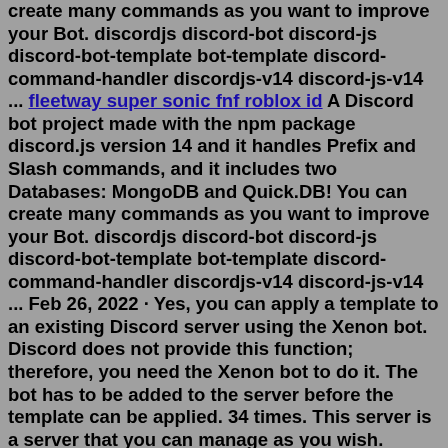create many commands as you want to improve your Bot. discordjs discord-bot discord-js discord-bot-template bot-template discord-command-handler discordjs-v14 discord-js-v14 ... fleetway super sonic fnf roblox id A Discord bot project made with the npm package discord.js version 14 and it handles Prefix and Slash commands, and it includes two Databases: MongoDB and Quick.DB! You can create many commands as you want to improve your Bot. discordjs discord-bot discord-js discord-bot-template bot-template discord-command-handler discordjs-v14 discord-js-v14 ... Feb 26, 2022 · Yes, you can apply a template to an existing Discord server using the Xenon bot. Discord does not provide this function; therefore, you need the Xenon bot to do it. The bot has to be added to the server before the template can be applied. 34 times. This server is a server that you can manage as you wish. Categories on Server ~ INFO. ~ LEVEL. ~ GENERAL. ~ SERVER EVENTS. ~ DEVELOPER CHANNEL (ONLY LEVEL 10+) ~ VOİCE. ~ AFK. A Discord bot project